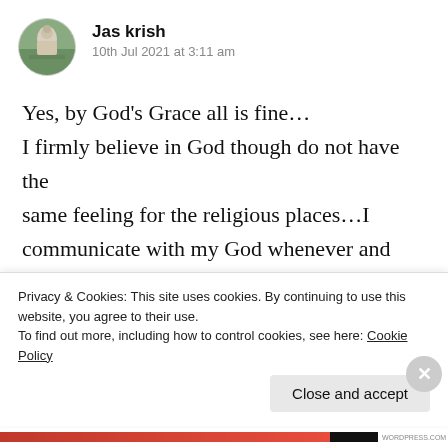[Figure (photo): Circular avatar photo of a Buddha statue outdoors]
Jas krish
10th Jul 2021 at 3:11 am
Yes, by God’s Grace all is fine… I firmly believe in God though do not have the same feeling for the religious places…I communicate with my God whenever and from wherever…and always to express my gratitude for the beautiful life…and at times get a bit greedy and request for more though not too much…and off course never pestered Him with requests, it is
Privacy & Cookies: This site uses cookies. By continuing to use this website, you agree to their use.
To find out more, including how to control cookies, see here: Cookie Policy
Close and accept